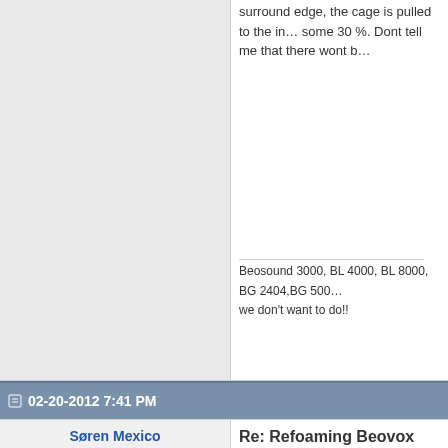surround edge, the cage is pulled to the in… some 30 %. Dont tell me that there wont b…
Beosound 3000, BL 4000, BL 8000, BG 2404,BG 500… we don't want to do!!
02-20-2012 7:41 PM
Søren Mexico
Re: Refoaming Beovox S80
Driver shim.jpg